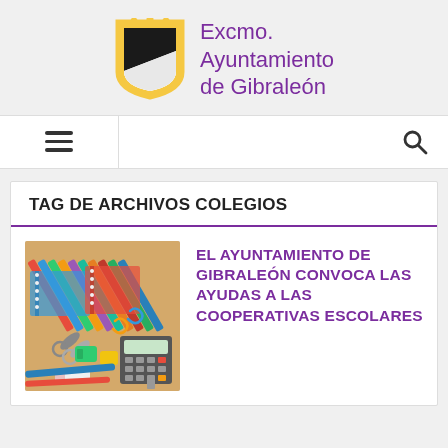[Figure (logo): Excmo. Ayuntamiento de Gibraleón shield logo with gold border and black diagonal band, with purple text]
Excmo. Ayuntamiento de Gibraleón
TAG DE ARCHIVOS COLEGIOS
[Figure (photo): School supplies including colorful pencils, notebooks, scissors, clips, sharpeners, and a calculator on a desk]
EL AYUNTAMIENTO DE GIBRALEÓN CONVOCA LAS AYUDAS A LAS COOPERATIVAS ESCOLARES